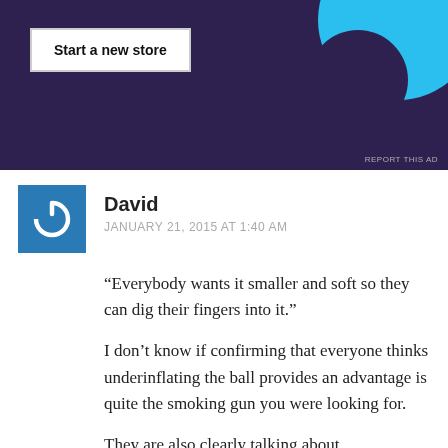[Figure (screenshot): Advertisement banner with dark purple background, 'Start a new store' button, and cyan decorative circles. Includes 'REPORT THIS AD' link.]
David
JANUARY 21, 2015 AT 1:40 AM
“Everybody wants it smaller and soft so they can dig their fingers into it.”
I don’t know if confirming that everyone thinks underinflating the ball provides an advantage is quite the smoking gun you were looking for.
They are also clearly talking about